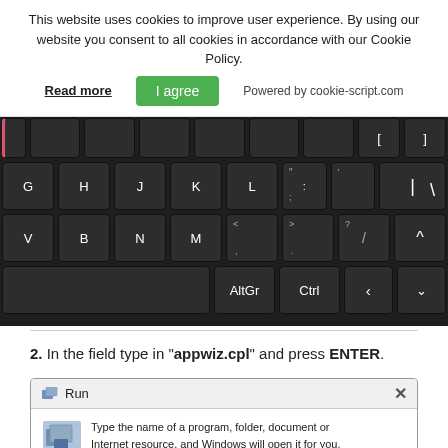This website uses cookies to improve user experience. By using our website you consent to all cookies in accordance with our Cookie Policy.
Read more  |  I agree  |  Powered by cookie-script.com
[Figure (screenshot): Partial keyboard image showing keys G, H, J, K, L and punctuation on the home row, V, B, N, M and symbols on the bottom row, and AltGr, Ctrl, and arrow keys on the spacebar row. The leftmost key has a pink/red left border.]
2. In the field type in "appwiz.cpl" and press ENTER.
[Figure (screenshot): Windows Run dialog box showing an icon, text 'Type the name of a program, folder, document or Internet resource, and Windows will open it for you.' with Open field showing APPWIZ.CPL with a red border and red arrow pointing to a red number 1 badge.]